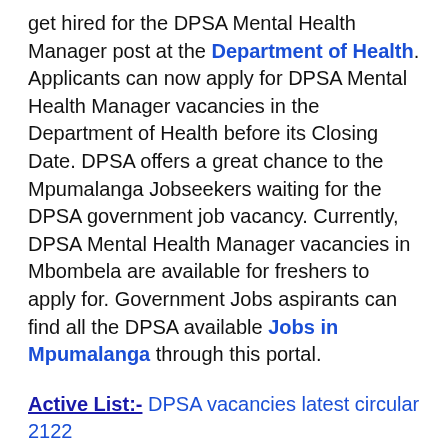get hired for the DPSA Mental Health Manager post at the Department of Health. Applicants can now apply for DPSA Mental Health Manager vacancies in the Department of Health before its Closing Date. DPSA offers a great chance to the Mpumalanga Jobseekers waiting for the DPSA government job vacancy. Currently, DPSA Mental Health Manager vacancies in Mbombela are available for freshers to apply for. Government Jobs aspirants can find all the DPSA available Jobs in Mpumalanga through this portal.
Active List:- DPSA vacancies latest circular 2122
DPSA Mental Health Manager